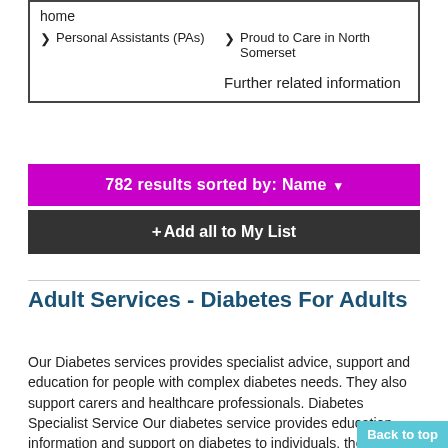home
Personal Assistants (PAs)
Proud to Care in North Somerset
Further related information
782 results sorted by: Name ▾
+ Add all to My List
Adult Services - Diabetes For Adults
Our Diabetes services provides specialist advice, support and education for people with complex diabetes needs. They also support carers and healthcare professionals. Diabetes Specialist Service Our diabetes service provides education, information and support on diabetes to individuals, their carers and healthcare professionals. The